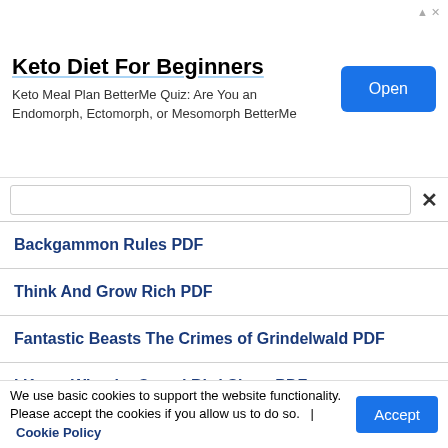[Figure (screenshot): Advertisement banner for Keto Diet For Beginners. Shows title 'Keto Diet For Beginners', subtext 'Keto Meal Plan BetterMe Quiz: Are You an Endomorph, Ectomorph, or Mesomorph BetterMe', and a blue 'Open' button.]
Backgammon Rules PDF
Think And Grow Rich PDF
Fantastic Beasts The Crimes of Grindelwald PDF
I Know Why the Caged Bird Sings PDF
Brave New World PDF
We use basic cookies to support the website functionality. Please accept the cookies if you allow us to do so.  |  Cookie Policy  Accept